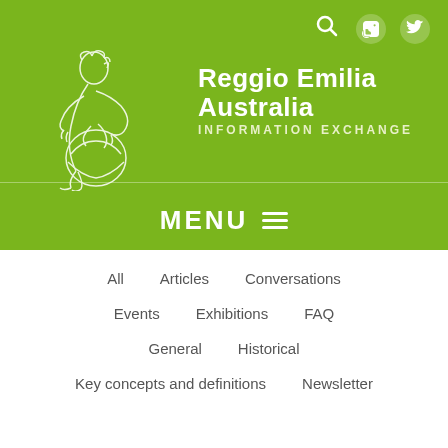[Figure (illustration): White line drawing of a child sitting and working on a round object, on green background]
Reggio Emilia Australia INFORMATION EXCHANGE
MENU☰
All
Articles
Conversations
Events
Exhibitions
FAQ
General
Historical
Key concepts and definitions
Newsletter